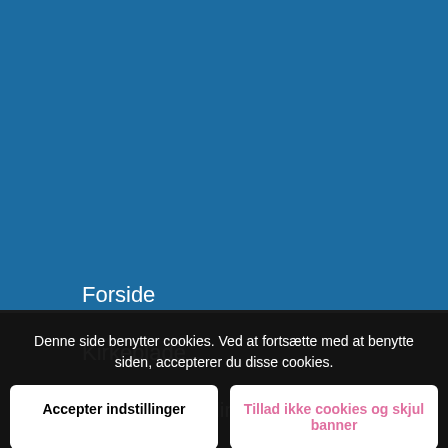Forside
Kirkeblade
Kirkelige handlinger
· Dåb
· Konfirmation
Vielse
Begravelse/begravelse
Gudstjenester
Denne side benytter cookies. Ved at fortsætte med at benytte siden, accepterer du disse cookies.
Accepter indstillinger
Tillad ikke cookies og skjul banner
Indstillinger